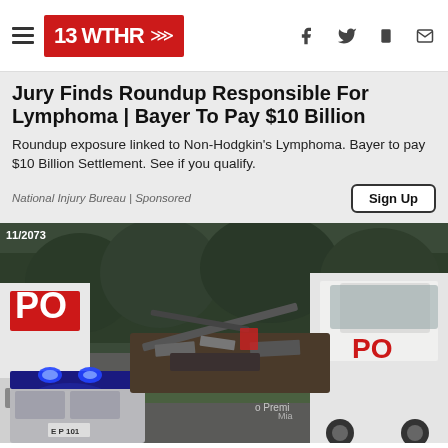13 WTHR
Jury Finds Roundup Responsible For Lymphoma | Bayer To Pay $10 Billion
Roundup exposure linked to Non-Hodgkin's Lymphoma. Bayer to pay $10 Billion Settlement. See if you qualify.
National Injury Bureau | Sponsored
[Figure (photo): News photograph showing a crash scene on a highway with police vehicles with blue lights flashing, semi-trucks (XPO branded), and wreckage including what appears to be a small aircraft or vehicle debris in between large trucks. Trees visible in background. Timestamp 11/2073 visible top left.]